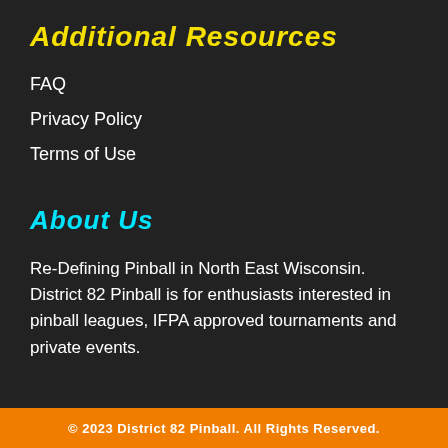Additional Resources
FAQ
Privacy Policy
Terms of Use
About Us
Re-Defining Pinball in North East Wisconsin. District 82 Pinball is for enthusiasts interested in pinball leagues, IFPA approved tournaments and private events.
© 2023 District 82 Pinball. All Rights Reserved.